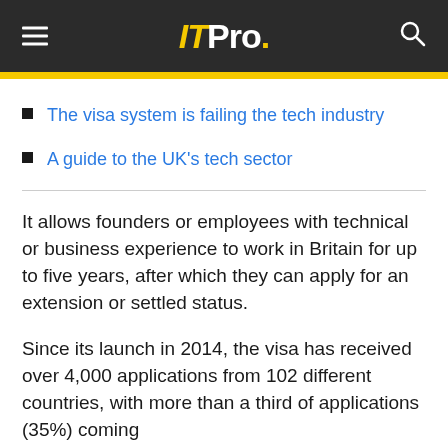ITPro.
The visa system is failing the tech industry
A guide to the UK's tech sector
It allows founders or employees with technical or business experience to work in Britain for up to five years, after which they can apply for an extension or settled status.
Since its launch in 2014, the visa has received over 4,000 applications from 102 different countries, with more than a third of applications (35%) coming